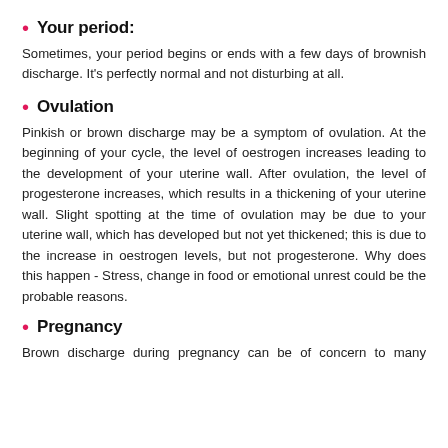Your period:
Sometimes, your period begins or ends with a few days of brownish discharge. It's perfectly normal and not disturbing at all.
Ovulation
Pinkish or brown discharge may be a symptom of ovulation. At the beginning of your cycle, the level of oestrogen increases leading to the development of your uterine wall. After ovulation, the level of progesterone increases, which results in a thickening of your uterine wall. Slight spotting at the time of ovulation may be due to your uterine wall, which has developed but not yet thickened; this is due to the increase in oestrogen levels, but not progesterone. Why does this happen - Stress, change in food or emotional unrest could be the probable reasons.
Pregnancy
Brown discharge during pregnancy can be of concern to many women. You